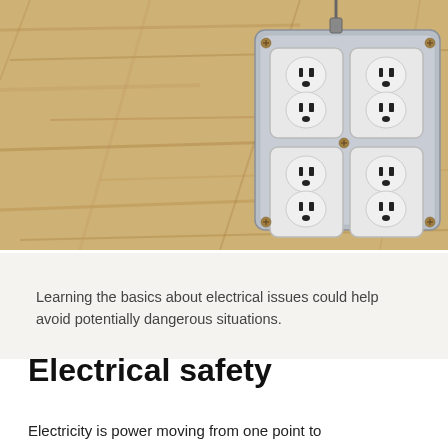[Figure (photo): Close-up photo of a metal electrical outlet box with four duplex outlets (8 receptacles total), mounted on an OSB (oriented strand board) plywood wall. The metal box is galvanized steel, square shape, with visible screws at corners and center. The outlets are white with standard US configuration.]
Learning the basics about electrical issues could help avoid potentially dangerous situations.
Electrical safety
Electricity is power moving from one point to